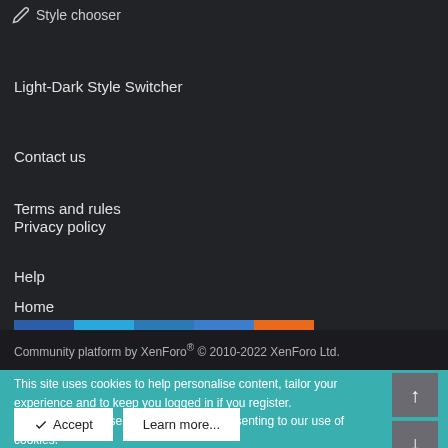Style chooser
Light-Dark Style Switcher
Contact us
Terms and rules
Privacy policy
Help
Home
[Figure (infographic): Social media icon buttons: Facebook, Twitter, LinkedIn, Email, RSS]
Community platform by XenForo® © 2010-2022 XenForo Ltd.
This site uses cookies to help personalise content, tailor your experience and to keep you logged in if you register.
By continuing to use this site, you are consenting to our use of cookies.
Accept
Learn more...